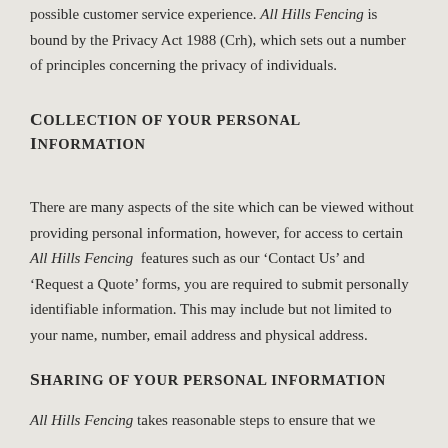possible customer service experience. All Hills Fencing is bound by the Privacy Act 1988 (Crh), which sets out a number of principles concerning the privacy of individuals.
Collection of your personal information
There are many aspects of the site which can be viewed without providing personal information, however, for access to certain All Hills Fencing features such as our ‘Contact Us’ and ‘Request a Quote’ forms, you are required to submit personally identifiable information. This may include but not limited to your name, number, email address and physical address.
Sharing of your personal information
All Hills Fencing takes reasonable steps to ensure that we